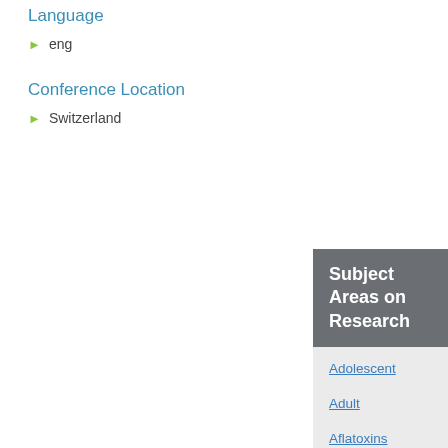Language
eng
Conference Location
Switzerland
Subject Areas on Research
Adolescent
Adult
Aflatoxins
Albumins
Eating